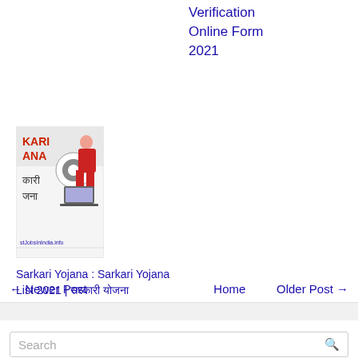Verification Online Form 2021
[Figure (illustration): Kariana yojana thumbnail image showing a woman with a laptop and text 'KARIANA कारी जना' with website stJobsInIndia.info]
Sarkari Yojana : Sarkari Yojana List 2021 | सरकारी योजना
← Newer Post
Home
Older Post →
Search